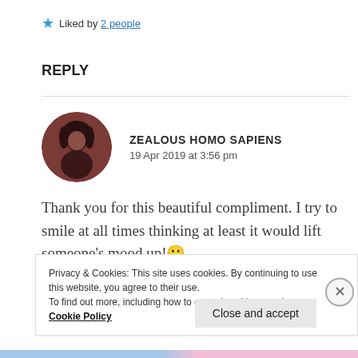Liked by 2 people
REPLY
ZEALOUS HOMO SAPIENS
19 Apr 2019 at 3:56 pm
Thank you for this beautiful compliment. I try to smile at all times thinking at least it would lift someone's mood up! 🙂
Privacy & Cookies: This site uses cookies. By continuing to use this website, you agree to their use.
To find out more, including how to control cookies, see here: Cookie Policy
Close and accept